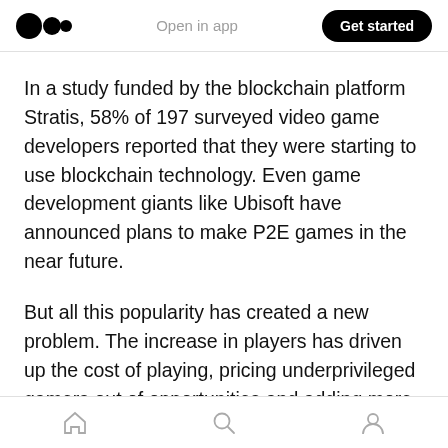Open in app | Get started
In a study funded by the blockchain platform Stratis, 58% of 197 surveyed video game developers reported that they were starting to use blockchain technology. Even game development giants like Ubisoft have announced plans to make P2E games in the near future.
But all this popularity has created a new problem. The increase in players has driven up the cost of playing, pricing underprivileged gamers out of opportunities and adding more volatility to NFT prices. For example, at the time of writing, Axie
Home | Search | Profile